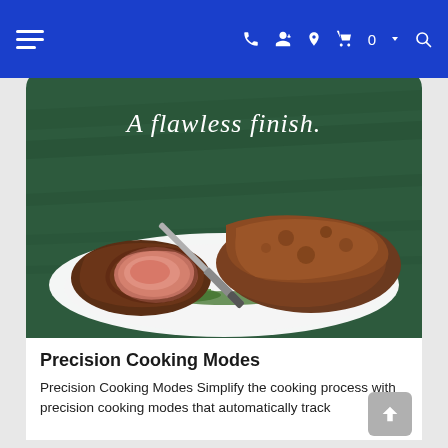Navigation header with hamburger menu, phone, user, location, cart (0), and search icons
[Figure (photo): A sliced beef roast on a white platter with rosemary garnish on a dark green background. White serif text reads 'A flawless finish.' overlaid at top.]
Precision Cooking Modes
Precision Cooking Modes Simplify the cooking process with precision cooking modes that automatically track